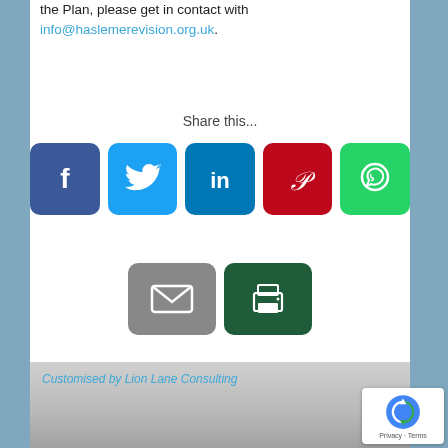the Plan, please get in contact with info@haslemerevision.org.uk.
Share this...
[Figure (infographic): Social share buttons: Facebook (blue), Twitter (light blue), LinkedIn (dark blue), Pinterest (red), WhatsApp (green), Email (grey), Print (dark green)]
Copyright
Cookies
Privacy
Legal
Customised by Lion Lane Consulting